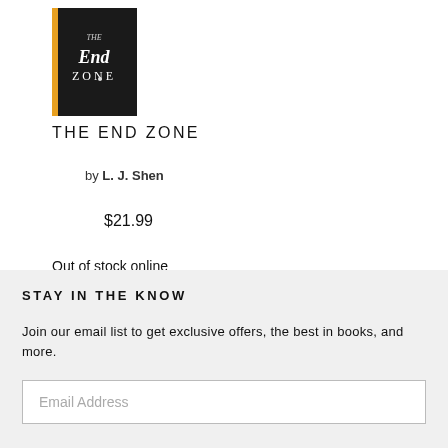[Figure (illustration): Book cover for 'The End Zone' showing dark background with title text in stylized font]
THE END ZONE
by L. J. Shen
$21.99
Out of stock online
STAY IN THE KNOW
Join our email list to get exclusive offers, the best in books, and more.
Email Address